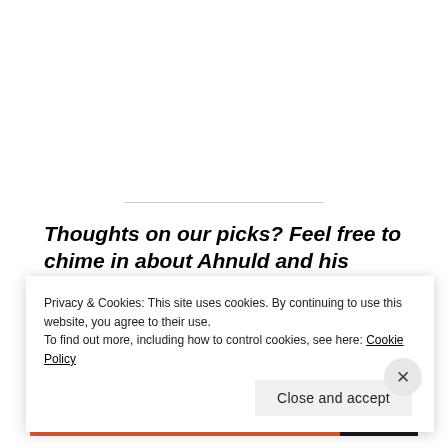Thoughts on our picks? Feel free to chime in about Ahnuld and his movies in the comments!
[Figure (other): Advertisement banner with WordPress logo and a phone graphic on a blue-teal gradient background]
Privacy & Cookies: This site uses cookies. By continuing to use this website, you agree to their use. To find out more, including how to control cookies, see here: Cookie Policy
Close and accept